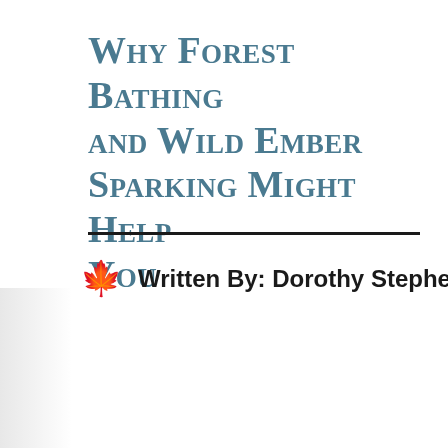Why Forest Bathing and Wild Ember Sparking Might Help You
Written By: Dorothy Stephenson